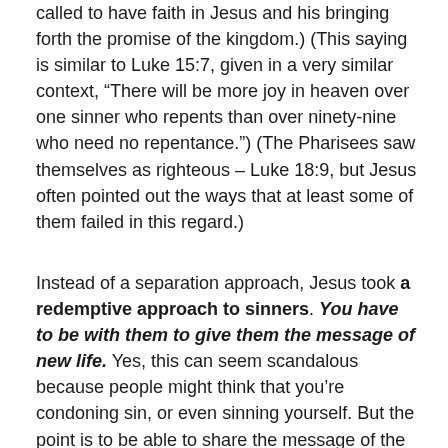called to have faith in Jesus and his bringing forth the promise of the kingdom.) (This saying is similar to Luke 15:7, given in a very similar context, “There will be more joy in heaven over one sinner who repents than over ninety-nine who need no repentance.”) (The Pharisees saw themselves as righteous – Luke 18:9, but Jesus often pointed out the ways that at least some of them failed in this regard.)
Instead of a separation approach, Jesus took a redemptive approach to sinners. You have to be with them to give them the message of new life. Yes, this can seem scandalous because people might think that you’re condoning sin, or even sinning yourself. But the point is to be able to share the message of the kingdom and repentance and forgiveness and new life. So it’s worth the risk.